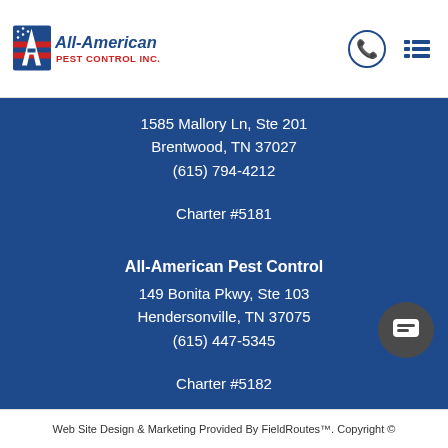[Figure (logo): All-American Pest Control Inc. logo with flag A and red/blue text]
1585 Mallory Ln, Ste 201
Brentwood, TN 37027
(615) 794-4212
Charter #5181
All-American Pest Control
149 Bonita Pkwy, Ste 103
Hendersonville, TN 37075
(615) 447-5345
Charter #5182
Web Site Design & Marketing Provided By FieldRoutes™. Copyright ©